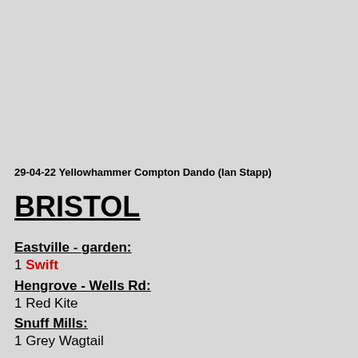29-04-22 Yellowhammer Compton Dando (Ian Stapp)
BRISTOL
Eastville - garden:
1 Swift
Hengrove - Wells Rd:
1 Red Kite
Snuff Mills:
1 Grey Wagtail